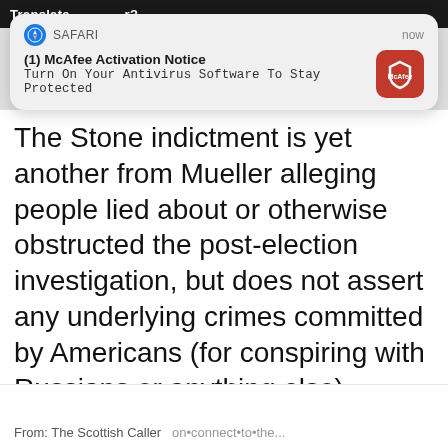[Figure (screenshot): Safari push notification popup: '(1) McAfee Activation Notice — Turn On Your Antivirus Software To Stay Protected' with McAfee red icon, labeled 'SAFARI' and 'now']
The Stone indictment is yet another from Mueller alleging people lied about or otherwise obstructed the post-election investigation, but does not assert any underlying crimes committed by Americans (for conspiring with Russians or anything else) regarding the election itself.
2:57 PM · Jan 25, 2019
♡ 1.5K   ○ Reply   🔗 Copy link
Read 435 replies